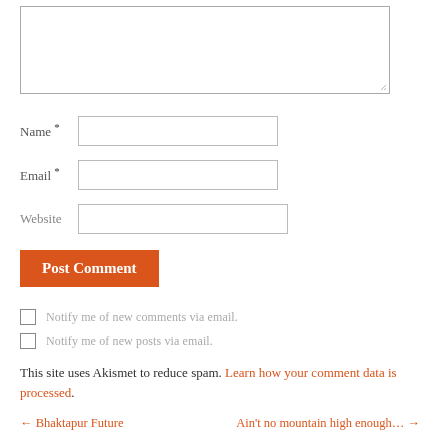[Figure (screenshot): A comment form with textarea, Name field, Email field, Website field, Post Comment button, two checkboxes for email notification, and Akismet spam notice with navigation links at bottom.]
Name *
Email *
Website
Post Comment
Notify me of new comments via email.
Notify me of new posts via email.
This site uses Akismet to reduce spam. Learn how your comment data is processed.
← Bhaktapur Future    Ain't no mountain high enough… →